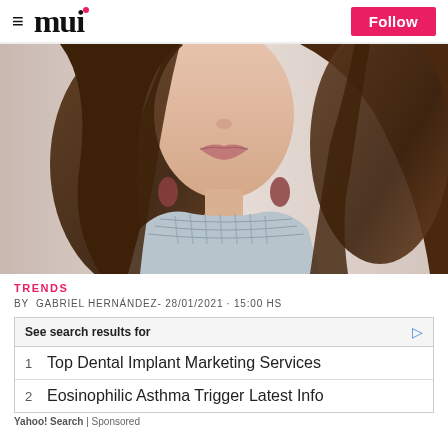mui  Follow
[Figure (photo): Fashion photo of a young woman with long brown hair wearing a grey smocked high-neck top and dangling earrings, photographed from chest up against a light background.]
TRENDS
BY  GABRIEL HERNÁNDEZ- 28/01/2021 · 15:00 HS
|  | See search results for |  |
| --- | --- | --- |
| 1 | Top Dental Implant Marketing Services |  |
| 2 | Eosinophilic Asthma Trigger Latest Info |  |
Yahoo! Search | Sponsored